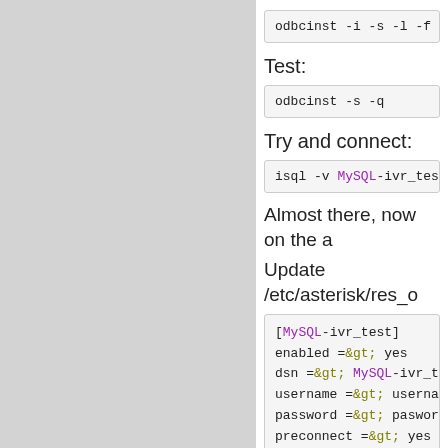odbcinst -i -s -l -f /etc/odbc.ini
Test:
odbcinst -s -q
Try and connect:
isql -v MySQL-ivr_test MYSQLUS
Almost there, now on the a
Update /etc/asterisk/res_o
[MySQL-ivr_test]
enabled =&gt; yes
dsn =&gt; MySQL-ivr_test
username =&gt; username
password =&gt; paswordhere
preconnect =&gt; yes